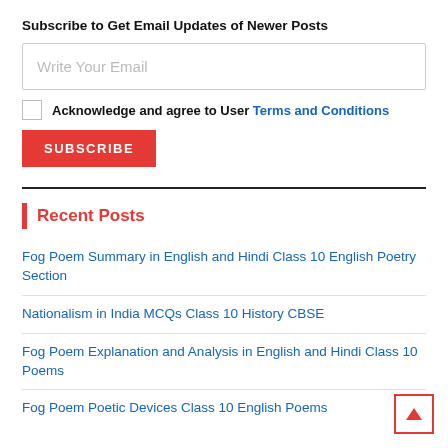Subscribe to Get Email Updates of Newer Posts
Write Your Email
Acknowledge and agree to User Terms and Conditions
SUBSCRIBE
Recent Posts
Fog Poem Summary in English and Hindi Class 10 English Poetry Section
Nationalism in India MCQs Class 10 History CBSE
Fog Poem Explanation and Analysis in English and Hindi Class 10 Poems
Fog Poem Poetic Devices Class 10 English Poems